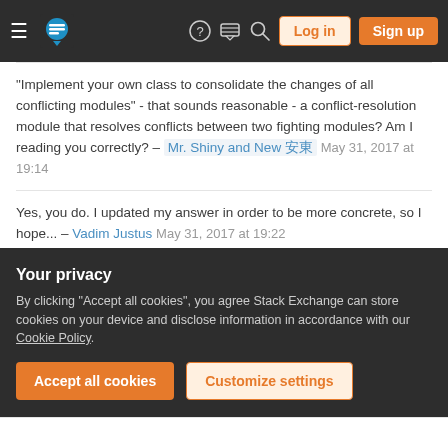Stack Exchange navigation bar with Log in and Sign up buttons
"Implement your own class to consolidate the changes of all conflicting modules" - that sounds reasonable - a conflict-resolution module that resolves conflicts between two fighting modules? Am I reading you correctly? – Mr. Shiny and New 安東 May 31, 2017 at 19:14
Yes, you do. I updated my answer in order to be more concrete, so I hope... – Vadim Justus May 31, 2017 at 19:22
I'm new to Magento - is it possible for you to expand in your answer how to structure the module so that its consolidation...
Your privacy
By clicking "Accept all cookies", you agree Stack Exchange can store cookies on your device and disclose information in accordance with our Cookie Policy.
Accept all cookies | Customize settings